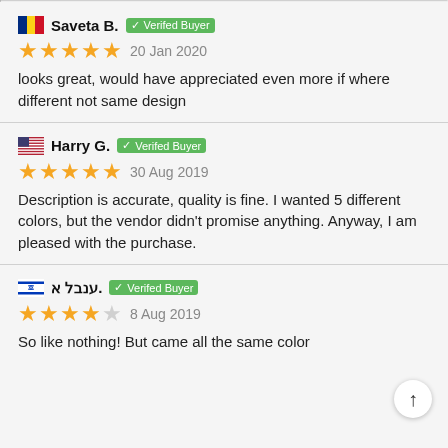Saveta B. — Verifed Buyer — 20 Jan 2020 — ★★★★★ — looks great, would have appreciated even more if where different not same design
Harry G. — Verifed Buyer — 30 Aug 2019 — ★★★★★ — Description is accurate, quality is fine. I wanted 5 different colors, but the vendor didn't promise anything. Anyway, I am pleased with the purchase.
ענבל א. — Verifed Buyer — 8 Aug 2019 — ★★★★☆ — So like nothing! But came all the same color